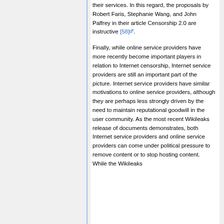their services. In this regard, the proposals by Robert Faris, Stephanie Wang, and John Palfrey in their article Censorship 2.0 are instructive [58].
Finally, while online service providers have more recently become important players in relation to Internet censorship, Internet service providers are still an important part of the picture. Internet service providers have similar motivations to online service providers, although they are perhaps less strongly driven by the need to maintain reputational goodwill in the user community. As the most recent Wikileaks release of documents demonstrates, both Internet service providers and online service providers can come under political pressure to remove content or to stop hosting content. While the Wikileaks